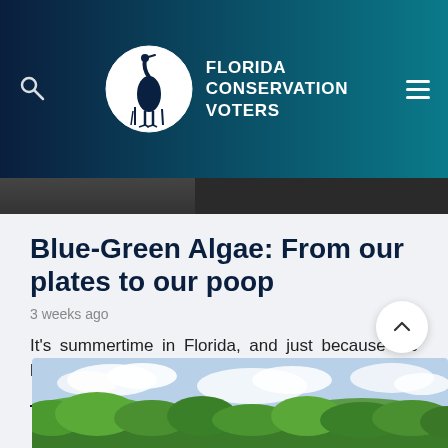[Figure (logo): Florida Conservation Voters logo — white circle with heron silhouette on left, bold white text 'FLORIDA CONSERVATION VOTERS' on right, on dark teal-to-navy gradient header bar with search icon and hamburger menu]
Blue-Green Algae: From our plates to our poop
3 weeks ago
It's summertime in Florida, and just because the kids are going back to school, it…
CONTINUE READING
[Figure (photo): Landscape photo of a lake or river scene with lush green trees and a partly cloudy sky]